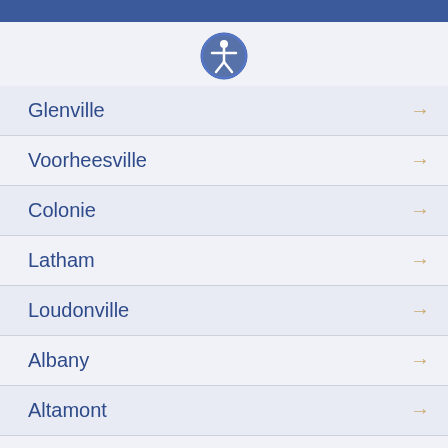[Figure (illustration): Accessibility icon — circle with a white human figure in the center, blue background]
Glenville
Voorheesville
Colonie
Latham
Loudonville
Albany
Altamont
Berne